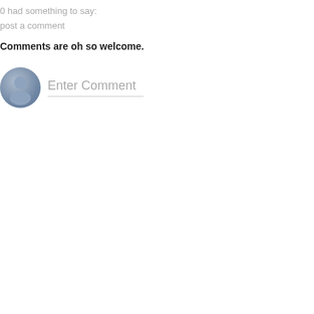0 had something to say:
post a comment
Comments are oh so welcome.
[Figure (illustration): A circular avatar icon with a blue-grey gradient showing a generic person/user silhouette, followed by an 'Enter Comment' placeholder input field with a bottom border line.]